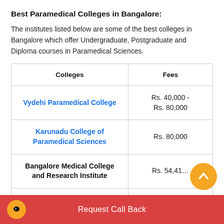Best Paramedical Colleges in Bangalore:
The institutes listed below are some of the best colleges in Bangalore which offer Undergraduate, Postgraduate and Diploma courses in Paramedical Sciences.
| Colleges | Fees |
| --- | --- |
| Vydehi Paramedical College | Rs. 40,000 - Rs. 80,000 |
| Karunadu College of Paramedical Sciences | Rs. 80,000 |
| Bangalore Medical College and Research Institute | Rs. 54,41… |
Request Call Back